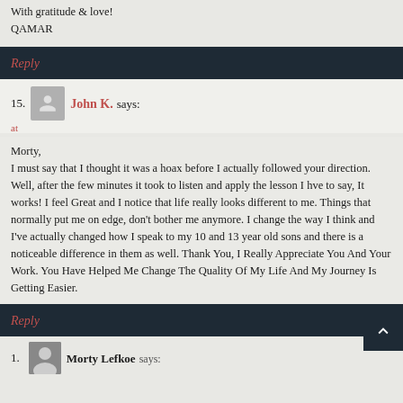With gratitude & love!
QAMAR
Reply
15. John K. says:
at
Morty,
I must say that I thought it was a hoax before I actually followed your direction. Well, after the few minutes it took to listen and apply the lesson I hve to say, It works! I feel Great and I notice that life really looks different to me. Things that normally put me on edge, don't bother me anymore. I change the way I think and I've actually changed how I speak to my 10 and 13 year old sons and there is a noticeable difference in them as well. Thank You, I Really Appreciate You And Your Work. You Have Helped Me Change The Quality Of My Life And My Journey Is Getting Easier.
Reply
1. Morty Lefkoe says: